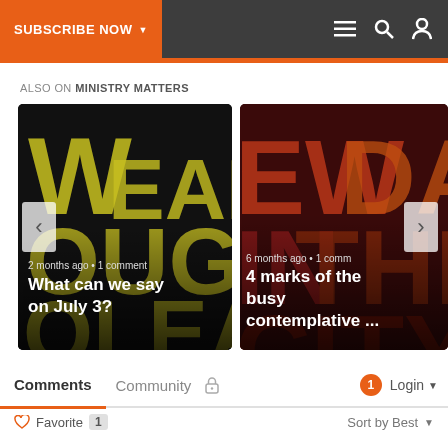SUBSCRIBE NOW | menu, search, user icons
ALSO ON MINISTRY MATTERS
[Figure (screenshot): Carousel of two article thumbnails. Left: 'What can we say on July 3?' with overlay text and timestamp '2 months ago • 1 comment'. Right: '4 marks of the busy contemplative ...' with overlay text and timestamp '6 months ago • 1 comm'. Navigation arrows on left and right sides.]
Comments  Community
♡ Favorite  1    Sort by Best